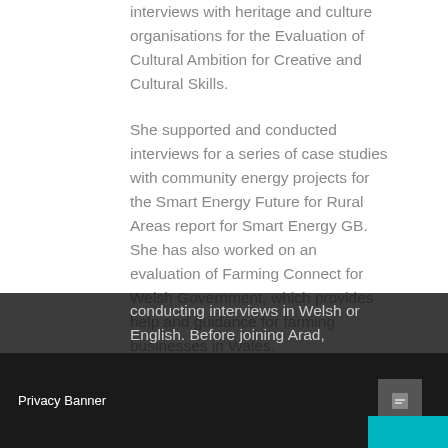interviews with heritage and culture organisations for the Evaluation of Cultural Ambition for Creative and Cultural Skills.
She supported and conducted interviews for a series of case studies with community energy projects for the Smart Energy Future for Rural Areas report for Smart Energy GB. She has also worked on an evaluation of Farming Connect for Welsh Government, which provides help and guidance for farming businesses in Wales.
Eluned is a fluent Welsh speaker and is equally comfortable conducting interviews in Welsh or English. Before joining Arad, Eluned...
Privacy Banner